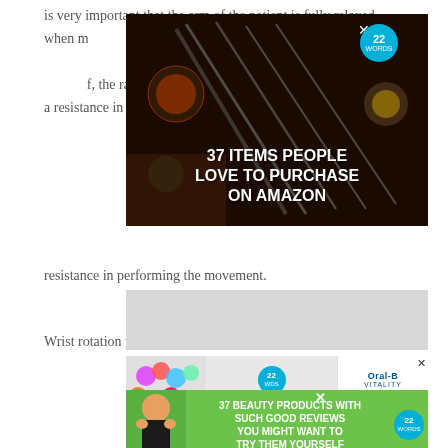is very important that the arm of the patient is fully relaxed when m... hand under t... s and rotates..., the range of motion will be preserved but you will feel a resistance in performing the movement.
[Figure (other): Advertisement overlay: '37 ITEMS PEOPLE LOVE TO PURCHASE ON AMAZON' with dark background showing kitchen knives and food items, badge showing '22 WORDS', close X button]
Wrist rotation with activation maneuver.
[Figure (other): Gray image placeholder box (content area for a figure)]
[Figure (other): Advertisement: '37 GENIUS' with colorful hair accessories on left, badge '22 WORDS', Oral-B VITALITY with CLOSE button on right]
[Figure (other): Green advertisement: '37 BEAUTY PRODUCTS WITH SUCH GOOD REVIEWS YOU MIGHT WANT TO TRY THEM YOURSELF' with woman's photo on left and '22 WORDS' badge, close X button]